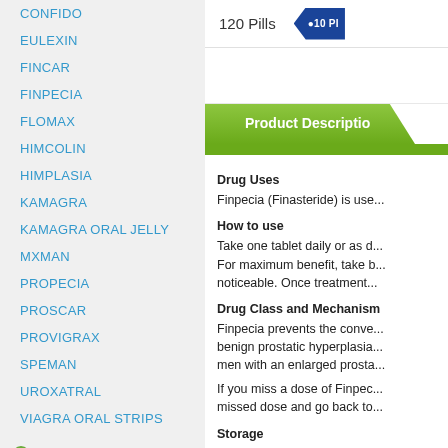CONFIDO
EULEXIN
FINCAR
FINPECIA
FLOMAX
HIMCOLIN
HIMPLASIA
KAMAGRA
KAMAGRA ORAL JELLY
MXMAN
PROPECIA
PROSCAR
PROVIGRAX
SPEMAN
UROXATRAL
VIAGRA ORAL STRIPS
Erection packs
Anti-Acidity
120 Pills
Product Description
Drug Uses
Finpecia (Finasteride) is use...
How to use
Take one tablet daily or as d... For maximum benefit, take b... noticeable. Once treatment...
Drug Class and Mechanism
Finpecia prevents the conve... benign prostatic hyperplasia... men with an enlarged prosta...
If you miss a dose of Finpec... missed dose and go back to...
Storage